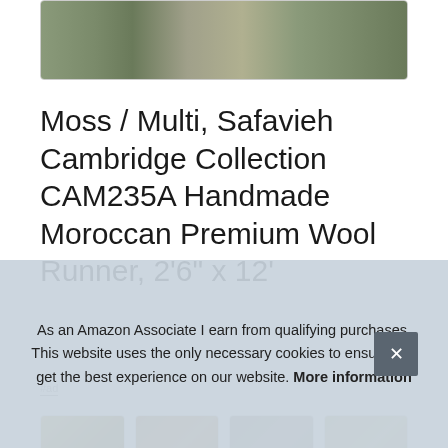[Figure (photo): Partial view of a Moroccan wool rug runner showing a teal/moss and multi-color pattern on a tile floor background]
Moss / Multi, Safavieh Cambridge Collection CAM235A Handmade Moroccan Premium Wool Runner, 2'6" x 12'
#ad
[Figure (photo): Row of four thumbnail images of rugs, partially visible]
As an Amazon Associate I earn from qualifying purchases. This website uses the only necessary cookies to ensure you get the best experience on our website. More information